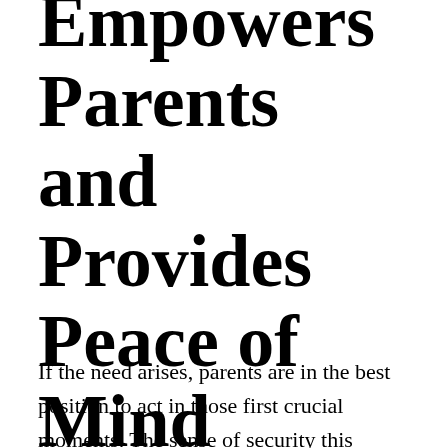Empowers Parents and Provides Peace of Mind
If the need arises, parents are in the best position to act in those first crucial moments. The sense of security this